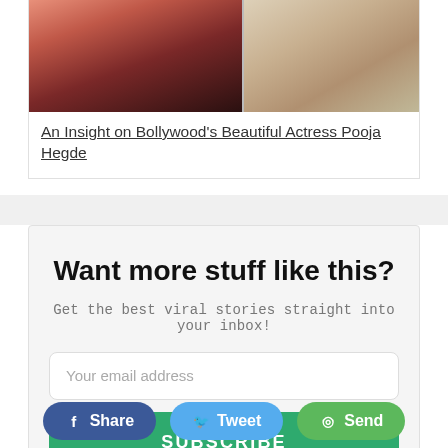[Figure (photo): Two women photo strip at top of article card]
An Insight on Bollywood's Beautiful Actress Pooja Hegde
Want more stuff like this?
Get the best viral stories straight into your inbox!
Your email address
SUBSCRIBE
Share
Tweet
Send